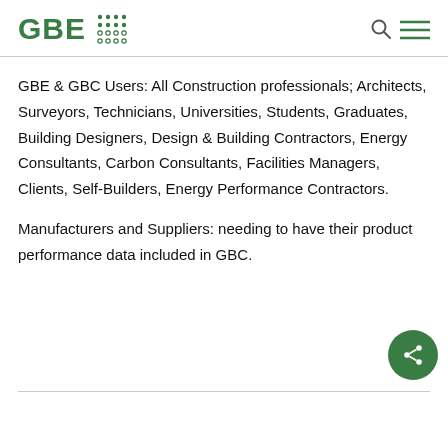GBE
GBE & GBC Users: All Construction professionals; Architects, Surveyors, Technicians, Universities, Students, Graduates, Building Designers, Design & Building Contractors, Energy Consultants, Carbon Consultants, Facilities Managers, Clients, Self-Builders, Energy Performance Contractors.
Manufacturers and Suppliers: needing to have their product performance data included in GBC.